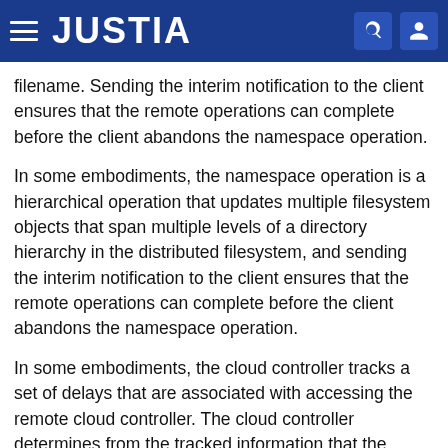JUSTIA
filename. Sending the interim notification to the client ensures that the remote operations can complete before the client abandons the namespace operation.
In some embodiments, the namespace operation is a hierarchical operation that updates multiple filesystem objects that span multiple levels of a directory hierarchy in the distributed filesystem, and sending the interim notification to the client ensures that the remote operations can complete before the client abandons the namespace operation.
In some embodiments, the cloud controller tracks a set of delays that are associated with accessing the remote cloud controller. The cloud controller determines from the tracked information that the remote request is likely to exceed a client timeout interval, and ensures that the client receives the interim notification before the